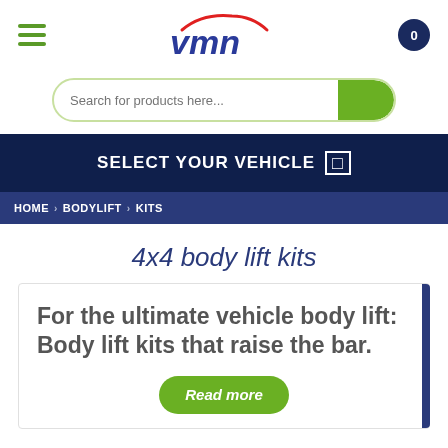[Figure (logo): VMN logo with red car roof outline and blue VMN text, hamburger menu icon, and cart icon]
Search for products here...
SELECT YOUR VEHICLE
HOME › BODYLIFT › KITS
4x4 body lift kits
For the ultimate vehicle body lift: Body lift kits that raise the bar.
Read more